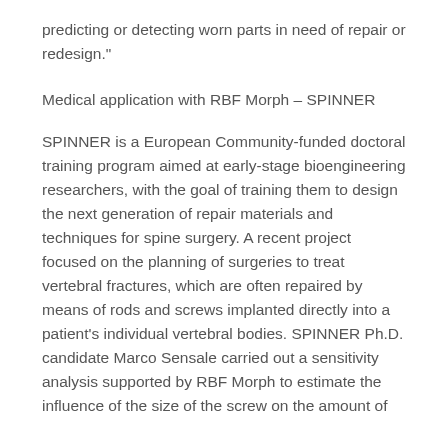predicting or detecting worn parts in need of repair or redesign."
Medical application with RBF Morph – SPINNER
SPINNER is a European Community-funded doctoral training program aimed at early-stage bioengineering researchers, with the goal of training them to design the next generation of repair materials and techniques for spine surgery. A recent project focused on the planning of surgeries to treat vertebral fractures, which are often repaired by means of rods and screws implanted directly into a patient's individual vertebral bodies. SPINNER Ph.D. candidate Marco Sensale carried out a sensitivity analysis supported by RBF Morph to estimate the influence of the size of the screw on the amount of